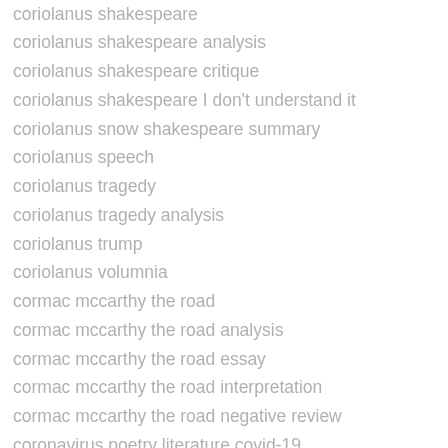coriolanus shakespeare
coriolanus shakespeare analysis
coriolanus shakespeare critique
coriolanus shakespeare I don't understand it
coriolanus snow shakespeare summary
coriolanus speech
coriolanus tragedy
coriolanus tragedy analysis
coriolanus trump
coriolanus volumnia
cormac mccarthy the road
cormac mccarthy the road analysis
cormac mccarthy the road essay
cormac mccarthy the road interpretation
cormac mccarthy the road negative review
coronavirus poetry literature covid-19
corregidora
corregidora a novel by gayl jones